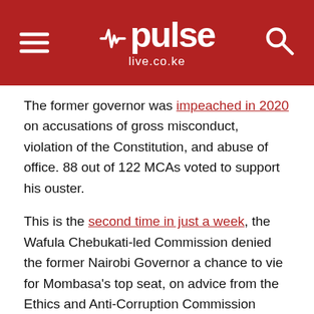pulse live.co.ke
The former governor was impeached in 2020 on accusations of gross misconduct, violation of the Constitution, and abuse of office. 88 out of 122 MCAs voted to support his ouster.
This is the second time in just a week, the Wafula Chebukati-led Commission denied the former Nairobi Governor a chance to vie for Mombasa's top seat, on advice from the Ethics and Anti-Corruption Commission (EACC).